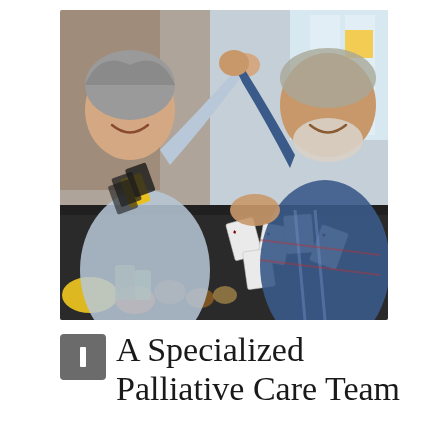[Figure (photo): Two elderly people playing cards at a dark table, laughing and giving each other a high-five. The woman on the left has gray hair and is holding a fan of cards including a yellow uno-style card, wearing a light blue jacket. The man on the right wears a blue plaid shirt and has a white beard. Playing cards are scattered on the table. Colorful game pieces visible in the foreground. Bright window light in background.]
A Specialized Palliative Care Team